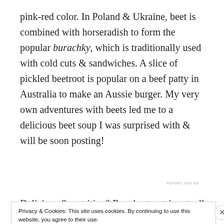pink-red color. In Poland & Ukraine, beet is combined with horseradish to form the popular burachky, which is traditionally used with cold cuts & sandwiches. A slice of pickled beetroot is popular on a beef patty in Australia to make an Aussie burger. My very own adventures with beets led me to a delicious beet soup I was surprised with & will be soon posting!
[Figure (other): Partial advertisement banner showing icon and bold text 'same page is easy. And free.']
Delicious & nutrition? Raw beetroot is actually 88%
Privacy & Cookies: This site uses cookies. By continuing to use this website, you agree to their use.
To find out more, including how to control cookies, see here: Cookie Policy
Close and accept